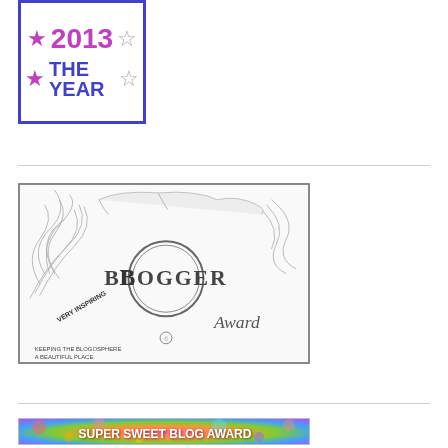[Figure (illustration): 2013 The Year award badge with purple/blue border, purple filled stars and outline stars, magenta '2013' text and blue 'THE YEAR' text]
[Figure (illustration): Very Inspiring Blogger Award badge with ornate black and white flourish design, feather/scroll decorations, large 'BLOGGER' text with B decorated, 'Award' in script, 'Very Inspiring' curved text, and 'Keeping the blogosphere a beautiful place' tagline]
[Figure (illustration): Super Sweet Blog Award banner with colorful bokeh background (pink, orange, green, blue, purple lights) and white bold text reading 'SUPER SWEET BLOG AWARD']